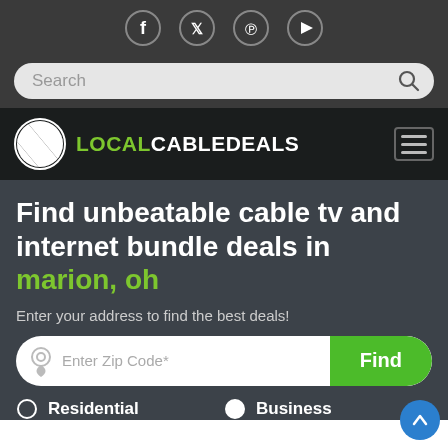[Figure (screenshot): Social media icons: Facebook, Twitter, Pinterest, YouTube in circular bordered icons on dark gray bar]
[Figure (screenshot): Search bar with placeholder text 'Search' and magnifying glass icon on dark gray background]
[Figure (logo): LocalCableDeals logo with striped globe icon and text LOCAL in green, CABLEDEALS in white, plus hamburger menu icon]
Find unbeatable cable tv and internet bundle deals in marion, oh
Enter your address to find the best deals!
[Figure (screenshot): Zip code input field with location pin icon and 'Enter Zip Code*' placeholder, and green 'Find' button]
Residential   Business